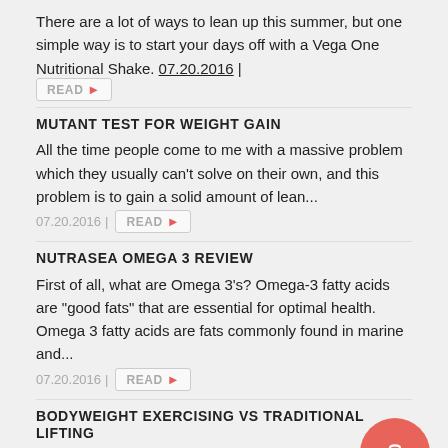There are a lot of ways to lean up this summer, but one simple way is to start your days off with a Vega One Nutritional Shake. 07.20.2016 | READ
MUTANT TEST FOR WEIGHT GAIN
All the time people come to me with a massive problem which they usually can't solve on their own, and this problem is to gain a solid amount of lean...
07.20.2016 | READ
NUTRASEA OMEGA 3 REVIEW
First of all, what are Omega 3's? Omega-3 fatty acids are "good fats" that are essential for optimal health. Omega 3 fatty acids are fats commonly found in marine and...
07.20.2016 | READ
BODYWEIGHT EXERCISING VS TRADITIONAL LIFTING
We are sure that many readers here use bodyweight exercises